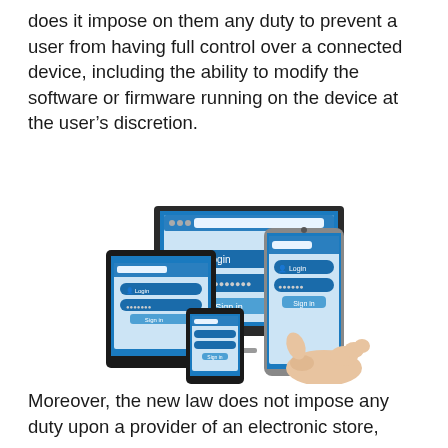does it impose on them any duty to prevent a user from having full control over a connected device, including the ability to modify the software or firmware running on the device at the user's discretion.
[Figure (photo): Illustration showing multiple connected devices (desktop monitor, tablet, smartphone) all displaying a login screen with Login field, password field, and Sign in button. A hand is shown holding and touching the smartphone screen.]
Moreover, the new law does not impose any duty upon a provider of an electronic store,